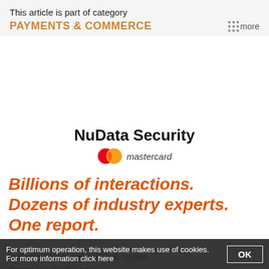This article is part of category
PAYMENTS & COMMERCE
[Figure (logo): NuData Security Mastercard logo — text 'NuData Security' in bold black, with Mastercard overlapping circles logo (red and orange) and 'mastercard' in italic below]
Billions of interactions. Dozens of industry experts. One report.
NuData's Consumer and Risk Trends Report is available now.
For optimum operation, this website makes use of cookies. For more information click here